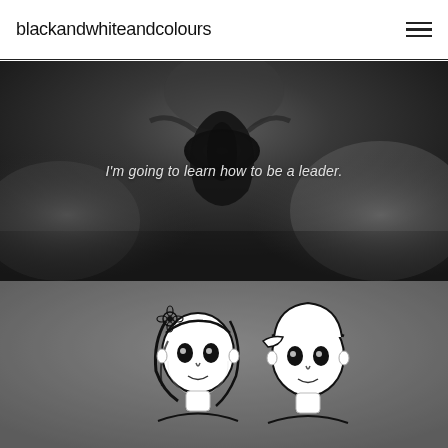blackandwhiteandcolours
[Figure (photo): Dark grayscale close-up photo of a ballet pointe shoe, viewed from above, with overlaid italic text: I'm going to learn how to be a leader.]
I'm going to learn how to be a leader.
[Figure (illustration): Grayscale background with a black and white cartoon illustration of two stylized characters: a girl with a flower in her hair and a boy wearing a cap, drawn in a cute anime-style.]